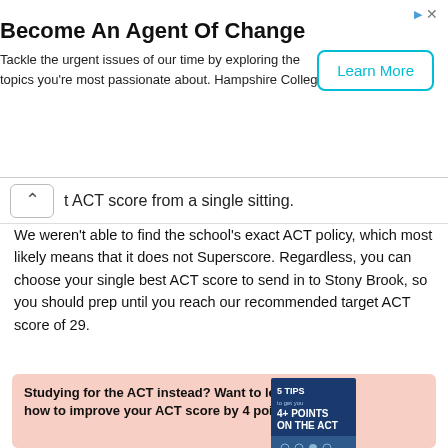[Figure (infographic): Advertisement banner: 'Become An Agent Of Change' from Hampshire College with a Learn More button]
t ACT score from a single sitting.
We weren't able to find the school's exact ACT policy, which most likely means that it does not Superscore. Regardless, you can choose your single best ACT score to send in to Stony Brook, so you should prep until you reach our recommended target ACT score of 29.
[Figure (infographic): Pink box with bold heading 'Studying for the ACT instead? Want to learn how to improve your ACT score by 4 points?' and a book cover image titled '5 TIPS to get you 4+ POINTS ON THE ACT']